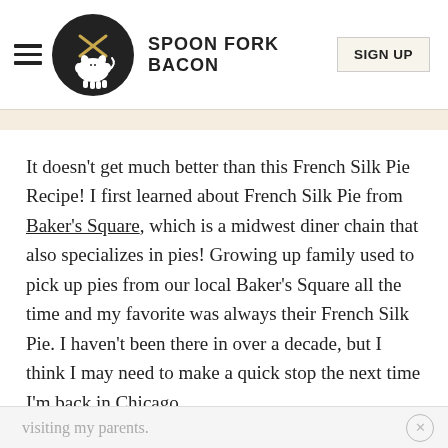SPOON FORK BACON | SIGN UP
It doesn't get much better than this French Silk Pie Recipe! I first learned about French Silk Pie from Baker's Square, which is a midwest diner chain that also specializes in pies! Growing up family used to pick up pies from our local Baker's Square all the time and my favorite was always their French Silk Pie. I haven't been there in over a decade, but I think I may need to make a quick stop the next time I'm back in Chicago
visiting my parents.